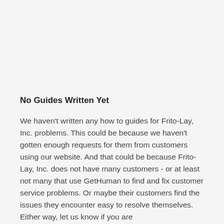No Guides Written Yet
We haven't written any how to guides for Frito-Lay, Inc. problems. This could be because we haven't gotten enough requests for them from customers using our website. And that could be because Frito-Lay, Inc. does not have many customers - or at least not many that use GetHuman to find and fix customer service problems. Or maybe their customers find the issues they encounter easy to resolve themselves. Either way, let us know if you are